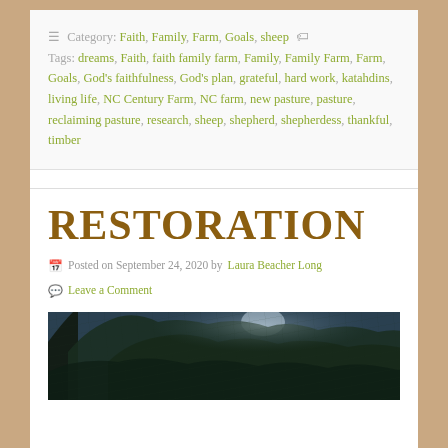Category: Faith, Family, Farm, Goals, sheep   Tags: dreams, Faith, faith family farm, Family, Family Farm, Farm, Goals, God's faithfulness, God's plan, grateful, hard work, katahdins, living life, NC Century Farm, NC farm, new pasture, pasture, reclaiming pasture, research, sheep, shepherd, shepherdess, thankful, timber
RESTORATION
Posted on September 24, 2020 by Laura Beacher Long
Leave a Comment
[Figure (photo): Photo of trees with dense foliage against a bright sky, dark tones, appears to be a forest or woodland scene.]